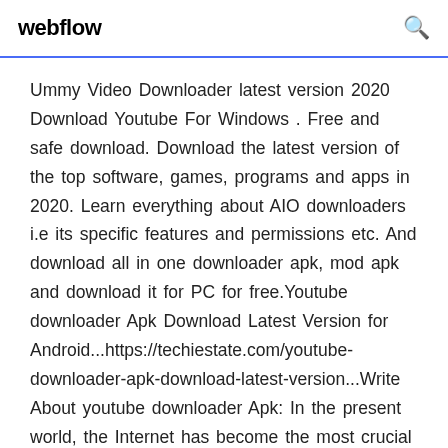webflow
Ummy Video Downloader latest version 2020 Download Youtube For Windows . Free and safe download. Download the latest version of the top software, games, programs and apps in 2020. Learn everything about AIO downloaders i.e its specific features and permissions etc. And download all in one downloader apk, mod apk and download it for PC for free.Youtube downloader Apk Download Latest Version for Android...https://techiestate.com/youtube-downloader-apk-download-latest-version...Write About youtube downloader Apk: In the present world, the Internet has become the most crucial thing in anyone's life....